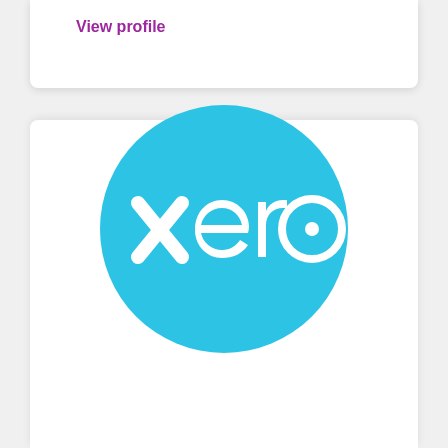View profile
[Figure (logo): Xero logo — white 'xero' wordmark with a small filled circle inside the 'o', on a cyan/light-blue circular background]